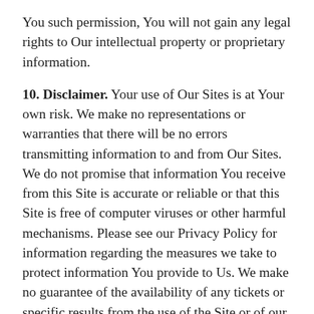You such permission, You will not gain any legal rights to Our intellectual property or proprietary information.
10. Disclaimer. Your use of Our Sites is at Your own risk. We make no representations or warranties that there will be no errors transmitting information to and from Our Sites. We do not promise that information You receive from this Site is accurate or reliable or that this Site is free of computer viruses or other harmful mechanisms. Please see our Privacy Policy for information regarding the measures we take to protect information You provide to Us. We make no guarantee of the availability of any tickets or specific results from the use of the Site or of our service. OUR SITES, THEIR CONTENTS AND OUR SERVICES ARE PROVIDED ON AN “AS IS” BASIS WITHOUT ANY WARRANTIES OF ANY KIND. TO THE FULLEST